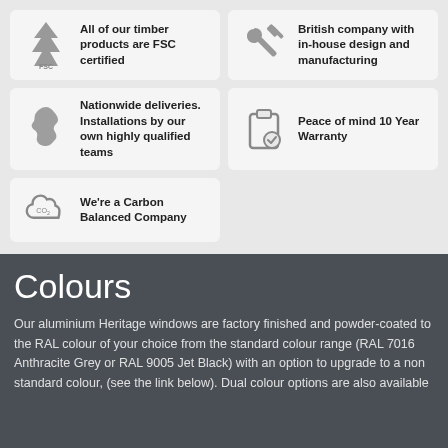[Figure (infographic): Grid of 5 feature cards with icons: FSC certified timber, British company with in-house design and manufacturing, Nationwide deliveries and installations, Peace of mind 10 Year Warranty, Carbon Balanced Company]
Colours
Our aluminium Heritage windows are factory finished and powder-coated to the RAL colour of your choice from the standard colour range (RAL 7016 Anthracite Grey or RAL 9005 Jet Black) with an option to upgrade to a non standard colour, (see the link below). Dual colour options are also available